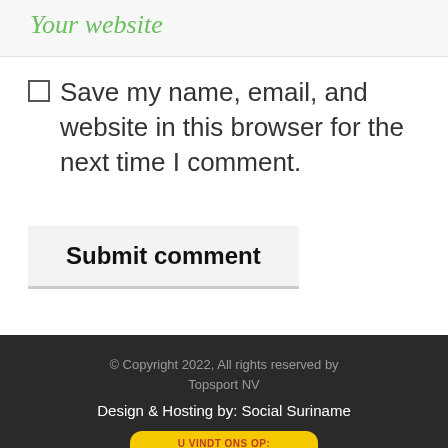Your website
Save my name, email, and website in this browser for the next time I comment.
Submit comment
© Copyright 2022, All rights reserved by Topsport NV
Design & Hosting by: Social Suriname
[Figure (logo): Soguia badge with yellow background, text 'U VINDT ONS OP:' in red, Soguia logo in red italic script, tagline 'Explore Discover Recommend']